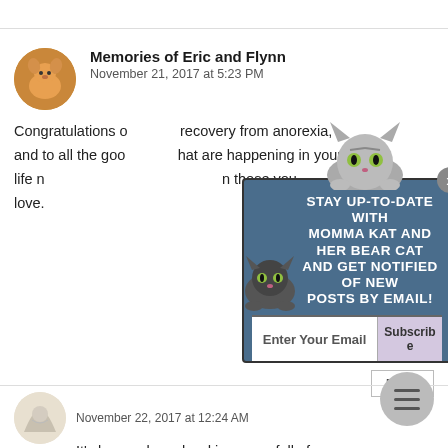Memories of Eric and Flynn
November 21, 2017 at 5:23 PM
Congratulations on recovery from anorexia, and to all the good things that are happening in your life now. It's so important to be close to those you love.
[Figure (infographic): Popup overlay with dark blue background showing text 'STAY UP-TO-DATE WITH MOMMA KAT AND HER BEAR CAT AND GET NOTIFIED OF NEW POSTS BY EMAIL!' with cat illustrations and an email subscribe input box]
November 22, 2017 at 12:24 AM
It's been a long, hard journey - full of struggles. Just admitting to my past struggles makes me feel so much lighter - so much happier. I'm very lucky to have so many supportive